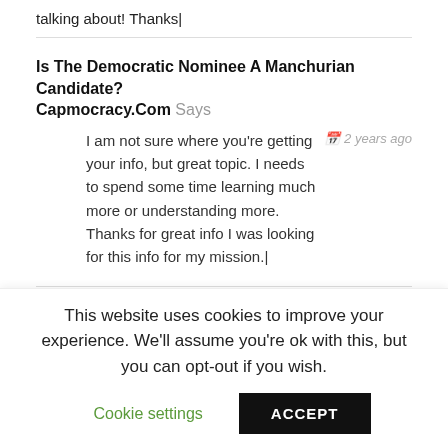talking about! Thanks|
Is The Democratic Nominee A Manchurian Candidate? Capmocracy.Com Says
I am not sure where you're getting your info, but great topic. I needs to spend some time learning much more or understanding more. Thanks for great info I was looking for this info for my mission.|
2 years ago
Pornlive Says
2 years ago
This website uses cookies to improve your experience. We'll assume you're ok with this, but you can opt-out if you wish.
Cookie settings
ACCEPT